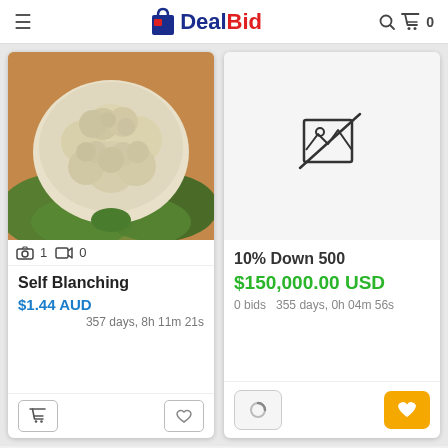DealBid
[Figure (photo): Cauliflower product photo]
1  0
Self Blanching
$1.44 AUD
357 days, 8h 11m 21s
[Figure (illustration): No image available placeholder icon]
10% Down 500
$150,000.00 USD
0 bids   355 days, 0h 04m 56s